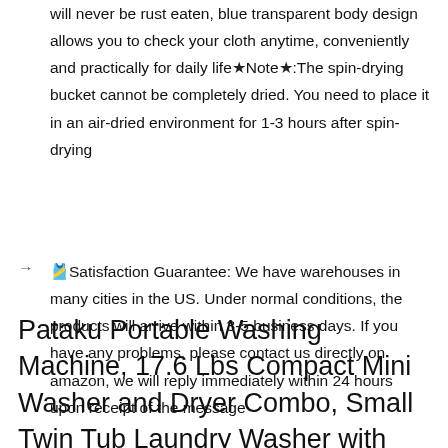will never be rust eaten, blue transparent body design allows you to check your cloth anytime, conveniently and practically for daily life★Note★:The spin-drying bucket cannot be completely dried. You need to place it in an air-dried environment for 1-3 hours after spin-drying
🎽Satisfaction Guarantee: We have warehouses in many cities in the US. Under normal conditions, the products will arrive within 3-5 business days. If you have any problems, please contact us directly on amazon, we will reply immediately within 24 hours upon receipt of the message
Pataku Portable Washing Machine, 17.6 Lbs Compact Mini Washer and Dryer Combo, Small Twin Tub Laundry Washer with Spin Cycle, Semi-Automatic with Soaking Function Ideal for Apartment, Dorms, RVs Camping